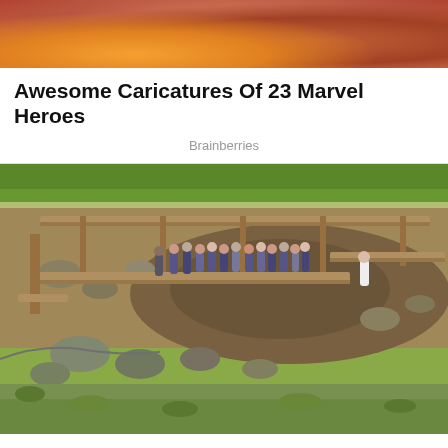[Figure (photo): Top portion of a Marvel character caricature illustration, showing colorful cartoon artwork cropped at the top of the page]
Awesome Caricatures Of 23 Marvel Heroes
Brainberries
[Figure (photo): Archaeological excavation site with wooden boardwalks and a group of visitors or tourists standing on the walkways, overlooking a large circular dig pit with rocks and earth, surrounded by green grass]
7 Mysterious Discoveries From All Around The World
Brainberries